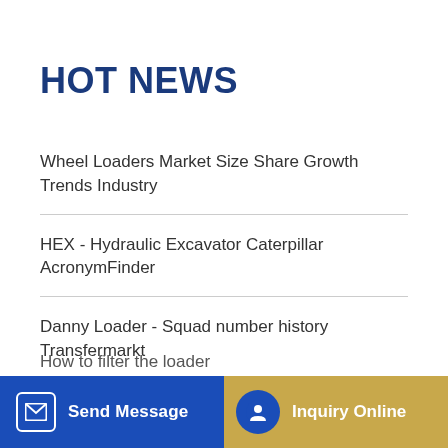HOT NEWS
Wheel Loaders Market Size Share Growth Trends Industry
HEX - Hydraulic Excavator Caterpillar AcronymFinder
Danny Loader - Squad number history Transfermarkt
Cape excavator reputation
...loader Air Conditi... (partially visible)
How to filter the loader (partially visible)